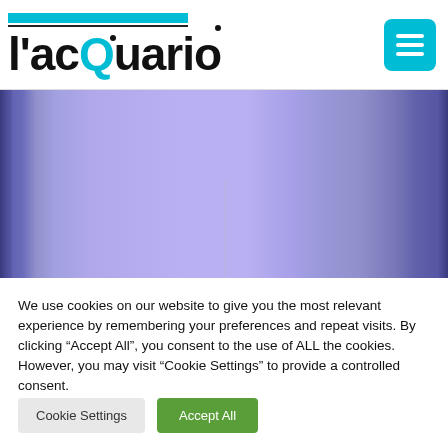[Figure (logo): l'acQuario logo with cyan bar on top, black underline, and cyan colored Q with a dot above it]
[Figure (photo): Photograph of a purple/blue lit aquarium glass panel viewed from the side, showing reflections and glass seams]
We use cookies on our website to give you the most relevant experience by remembering your preferences and repeat visits. By clicking “Accept All”, you consent to the use of ALL the cookies. However, you may visit “Cookie Settings” to provide a controlled consent.
Cookie Settings
Accept All